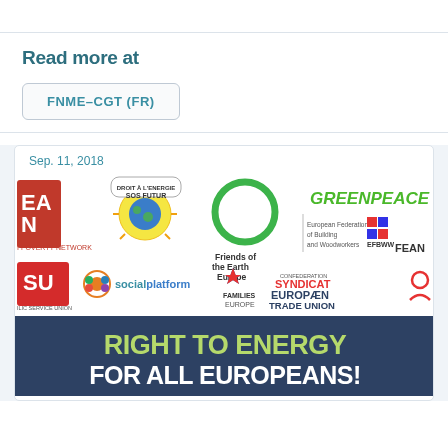Read more at
FNME-CGT (FR)
Sep. 11, 2018
[Figure (logo): Multiple organization logos: Friends of the Earth Europe, Greenpeace, European Federation of Building and Woodworkers, FEANTSA, SOS FUTUR, Social Platform, Families Europe, Syndicat Europeen Trade Union, and others]
[Figure (infographic): Dark blue banner with green and white bold text reading: RIGHT TO ENERGY FOR ALL EUROPEANS!]